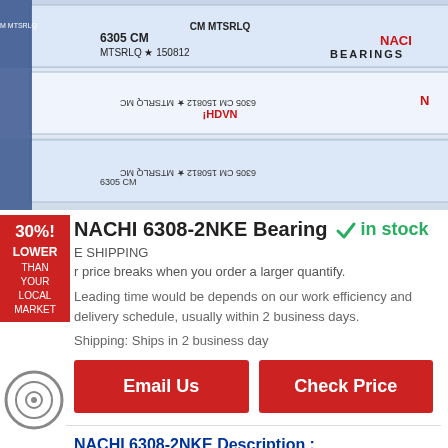[Figure (photo): Photo of NACHI bearing boxes stacked, showing labels with '6305 CM MTSRLQ 150812' and 'NACHI BEARINGS' branding]
NACHI 6308-2NKE Bearing  ✓ in stock
E SHIPPING
r price breaks when you order a larger quantify.
Leading time would be depends on our work efficiency and delivery schedule, usually within 2 business days.
Shipping: Ships in 2 business day
Email Us
Check Price
NACHI 6308-2NKE Description :